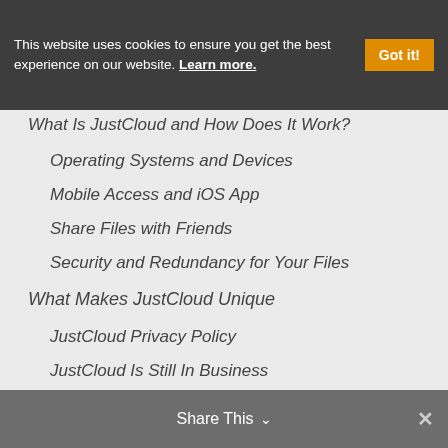This website uses cookies to ensure you get the best experience on our website. Learn more.
What Is JustCloud and How Does It Work?
Operating Systems and Devices
Mobile Access and iOS App
Share Files with Friends
Security and Redundancy for Your Files
What Makes JustCloud Unique
JustCloud Privacy Policy
JustCloud Is Still In Business
Pricing
1 GB Free Account
Home/Pro Plan - 75GB
Premium Plan - 250GB
Share This